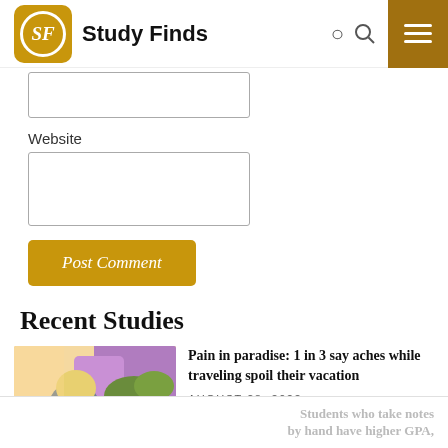Study Finds
Website
[Figure (screenshot): Empty website text input field]
Post Comment
Recent Studies
[Figure (photo): Woman with back pain stretching outdoors near flowers]
Pain in paradise: 1 in 3 say aches while traveling spoil their vacation
AUGUST 28, 2022
Students who take notes by hand have higher GPA,